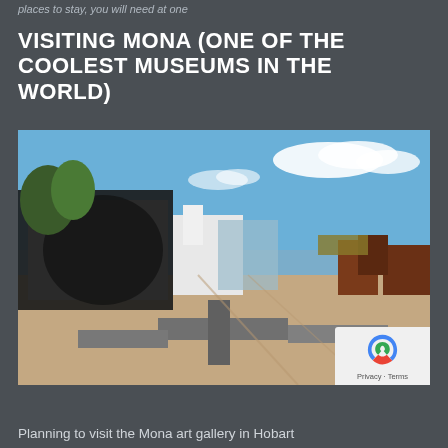places to stay, you will need at one
VISITING MONA (ONE OF THE COOLEST MUSEUMS IN THE WORLD)
[Figure (photo): Outdoor courtyard of MONA museum in Hobart, Tasmania, showing modern architecture with dark stone walls, white structures, sculpture benches in the foreground, blue sky with clouds, and water in the background.]
Planning to visit the Mona art gallery in Hobart